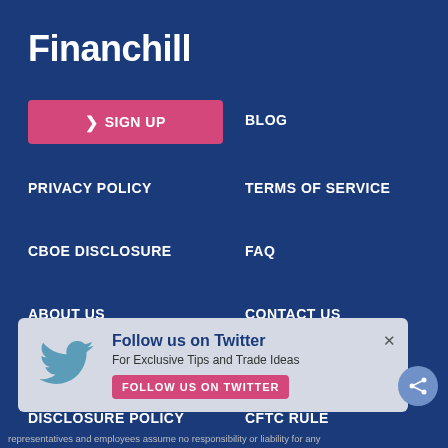Financhill
> SIGN UP
BLOG
PRIVACY POLICY
TERMS OF SERVICE
CBOE DISCLOSURE
FAQ
ABOUT US
CONTACT US
HOW WE MAKE MONEY
DISCLAIMER
DISCLOSURE POLICY
CFTC RULE
[Figure (infographic): Follow us on Twitter popup with Twitter bird logo, text 'Follow us on Twitter', 'For Exclusive Tips and Trade Ideas', and a pink 'FOLLOW US ON TWITTER' button]
representatives and employees assume no responsibility or liability for any